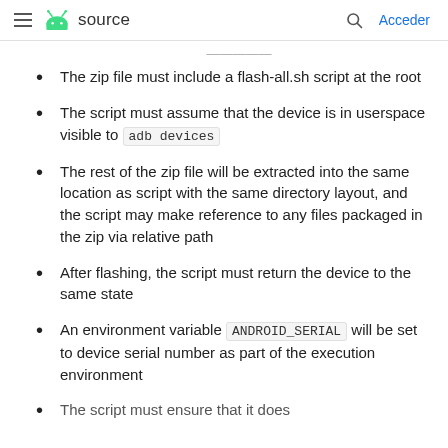≡ source  🔍  Acceder
…g…p…
The zip file must include a flash-all.sh script at the root
The script must assume that the device is in userspace visible to adb devices
The rest of the zip file will be extracted into the same location as script with the same directory layout, and the script may make reference to any files packaged in the zip via relative path
After flashing, the script must return the device to the same state
An environment variable ANDROID_SERIAL will be set to device serial number as part of the execution environment
The script must ensure that it does…